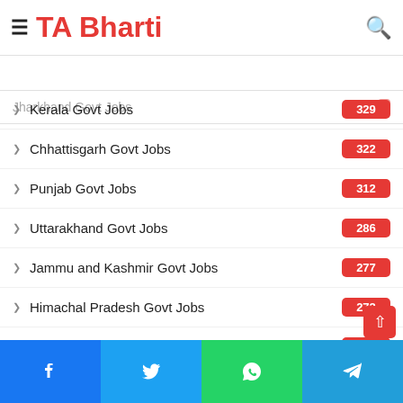TA Bharti
Haryana Govt Jobs
Jharkhand Govt Jobs
Kerala Govt Jobs
Chhattisgarh Govt Jobs
Punjab Govt Jobs
Uttarakhand Govt Jobs
Jammu and Kashmir Govt Jobs
Himachal Pradesh Govt Jobs
Arunachal Pradesh Govt Jobs
Meghalaya Govt Jobs
Manipur Govt Jobs
Uncategorized